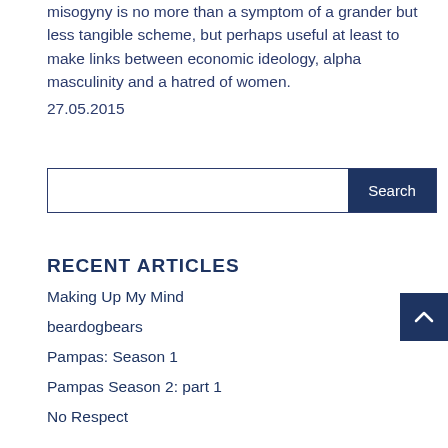misogyny is no more than a symptom of a grander but less tangible scheme, but perhaps useful at least to make links between economic ideology, alpha masculinity and a hatred of women.
27.05.2015
[Figure (other): Search input field with a dark navy Search button on the right]
RECENT ARTICLES
Making Up My Mind
beardogbears
Pampas: Season 1
Pampas Season 2: part 1
No Respect